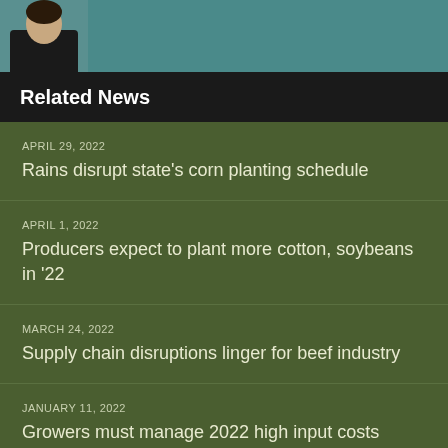[Figure (photo): Photo of a person against a teal/dark background]
Related News
APRIL 29, 2022
Rains disrupt state's corn planting schedule
APRIL 1, 2022
Producers expect to plant more cotton, soybeans in '22
MARCH 24, 2022
Supply chain disruptions linger for beef industry
JANUARY 11, 2022
Growers must manage 2022 high input costs
DECEMBER 21, 2021